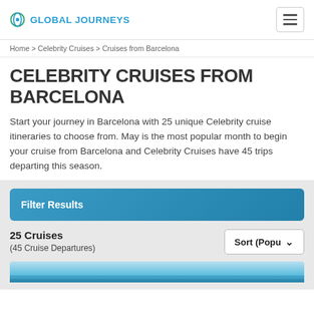GLOBAL JOURNEYS
Home > Celebrity Cruises > Cruises from Barcelona
CELEBRITY CRUISES FROM BARCELONA
Start your journey in Barcelona with 25 unique Celebrity cruise itineraries to choose from. May is the most popular month to begin your cruise from Barcelona and Celebrity Cruises have 45 trips departing this season.
Filter Results
25 Cruises
(45 Cruise Departures)
Sort (Popu ⌄
[Figure (photo): Cruise ship at sea, partially visible at bottom of page]